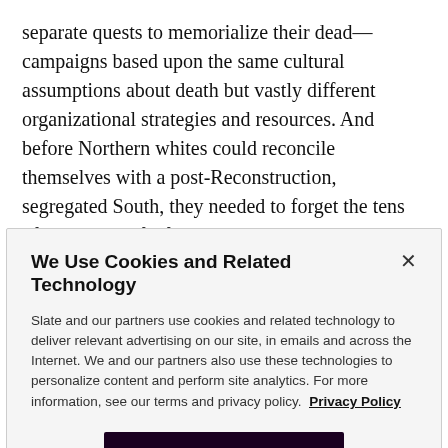separate quests to memorialize their dead—campaigns based upon the same cultural assumptions about death but vastly different organizational strategies and resources. And before Northern whites could reconcile themselves with a post-Reconstruction, segregated South, they needed to forget the tens of thousands of African-American soldiers who had died for liberty and union too. That process required time, since black
We Use Cookies and Related Technology
Slate and our partners use cookies and related technology to deliver relevant advertising on our site, in emails and across the Internet. We and our partners also use these technologies to personalize content and perform site analytics. For more information, see our terms and privacy policy.  Privacy Policy